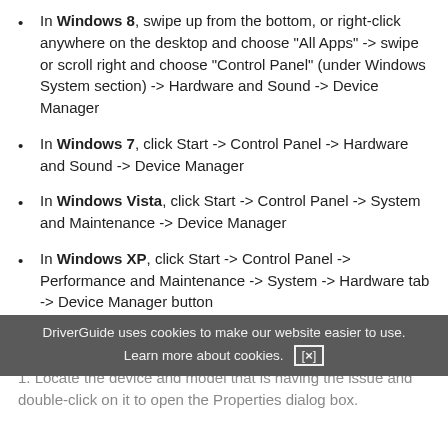In Windows 8, swipe up from the bottom, or right-click anywhere on the desktop and choose "All Apps" -> swipe or scroll right and choose "Control Panel" (under Windows System section) -> Hardware and Sound -> Device Manager
In Windows 7, click Start -> Control Panel -> Hardware and Sound -> Device Manager
In Windows Vista, click Start -> Control Panel -> System and Maintenance -> Device Manager
In Windows XP, click Start -> Control Panel -> Performance and Maintenance -> System -> Hardware tab -> Device Manager button
How to Install a driver from Device Manager
Locate the device and model that is having the issue and double-click on it to open the Properties dialog box.